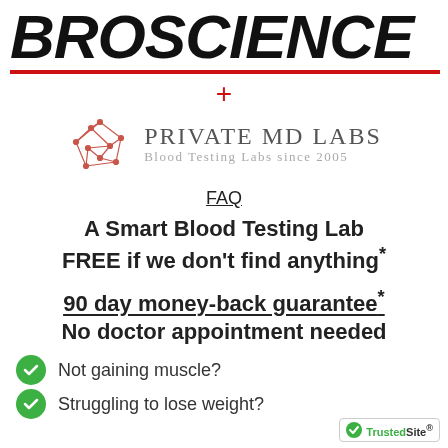BROSCIENCE
[Figure (logo): Private MD Labs logo with red geometric network icon, text 'PRIVATE MD LABS' and 'Blood Testing Labs since 2005']
FAQ
A Smart Blood Testing Lab FREE if we don't find anything*
90 day money-back guarantee* No doctor appointment needed
Not gaining muscle?
Struggling to lose weight?
[Figure (logo): TrustedSite badge with green checkmark]